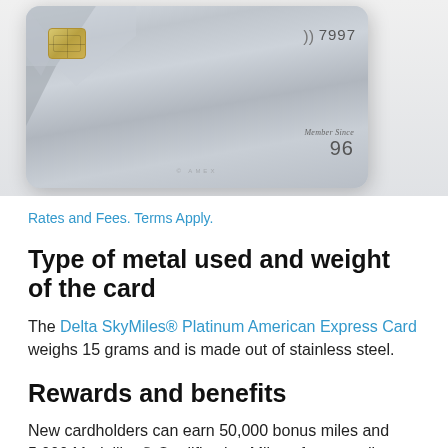[Figure (photo): A metallic credit card (Delta SkyMiles Platinum American Express Card) with brushed stainless steel finish, showing contactless payment symbol, last 4 digits 7997, chip, and Member Since 96 text]
Rates and Fees. Terms Apply.
Type of metal used and weight of the card
The Delta SkyMiles® Platinum American Express Card weighs 15 grams and is made out of stainless steel.
Rewards and benefits
New cardholders can earn 50,000 bonus miles and 5,000 Medallion® Qualification Miles after spending the required amount within the first few months.